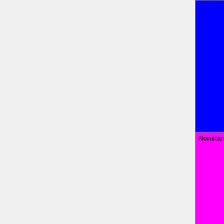| Feature | Status |
| --- | --- |
| (blue cell - top row) | TODO=red | WIP=orange | Untested=yellow | N/A=lightgray | yellow }}" | Unknown |
| Nonstandard LEDs | OK=lime | TODO=red | No=red | WIP=orange | Untested=yellow | N/A=lightgray | yellow }}" | N/A |
| High precision event timers (HPET) | OK=lime | TODO=red | No=red | WIP=orange | Untested=yellow | N/A=lightgray | yellow }}" | ? |
| Random number generator (RNG) | OK=lime | TODO=red | No=red | WIP=orange |